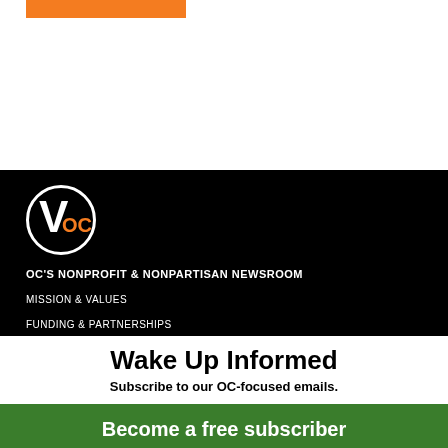[Figure (logo): VOC logo — white circle with bold V and orange OC text inside on black background]
OC'S NONPROFIT & NONPARTISAN NEWSROOM
MISSION & VALUES
FUNDING & PARTNERSHIPS
IMPACT & HONORS
STAFF & CONTACT US
Wake Up Informed
Subscribe to our OC-focused emails.
Become a free subscriber
Not today